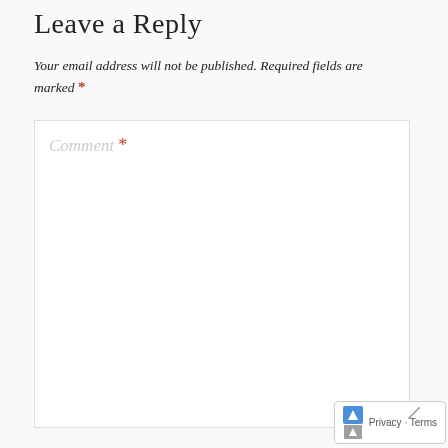Leave a Reply
Your email address will not be published. Required fields are marked *
[Figure (other): Large comment text input box with placeholder text 'Comment *' where the asterisk is in red/orange color]
[Figure (other): reCAPTCHA privacy badge showing Privacy and Terms links with reCAPTCHA icon]